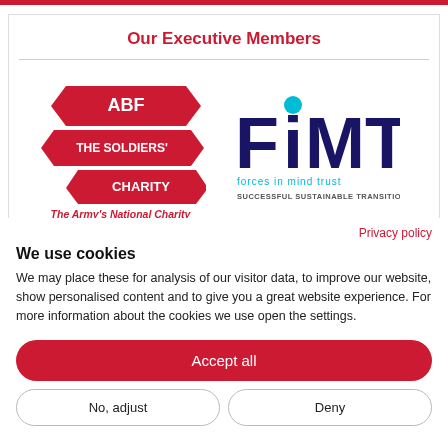Our Executive Members
[Figure (logo): ABF The Soldiers' Charity logo with red ribbon banner shapes. Text: ABF, THE SOLDIERS' CHARITY. Below: The Army's National Charity]
[Figure (logo): FiMT forces in mind trust logo. Large text: FiMT with a blue dot over i. Below: forces in mind trust, SUCCESSFUL SUSTAINABLE TRANSITION]
Privacy policy
We use cookies
We may place these for analysis of our visitor data, to improve our website, show personalised content and to give you a great website experience. For more information about the cookies we use open the settings.
Accept all
No, adjust
Deny